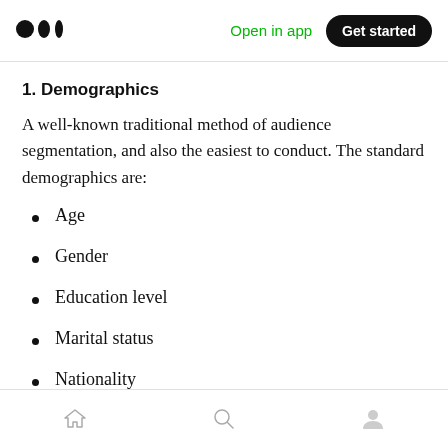Open in app | Get started
1. Demographics
A well-known traditional method of audience segmentation, and also the easiest to conduct. The standard demographics are:
Age
Gender
Education level
Marital status
Nationality
Home | Search | Profile